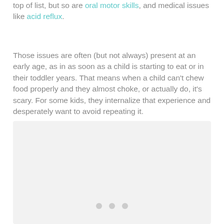top of list, but so are oral motor skills, and medical issues like acid reflux.
Those issues are often (but not always) present at an early age, as in as soon as a child is starting to eat or in their toddler years. That means when a child can't chew food properly and they almost choke, or actually do, it's scary. For some kids, they internalize that experience and desperately want to avoid repeating it.
[Figure (photo): Image placeholder with loading dots indicator at bottom center]